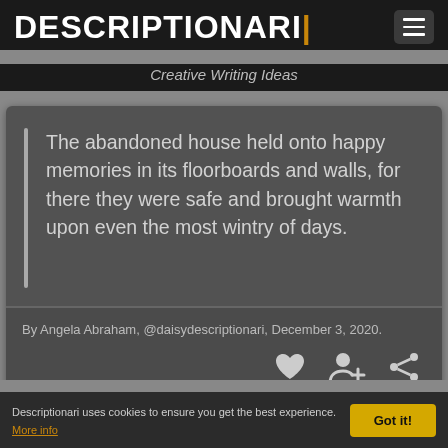DESCRIPTIONARI | Creative Writing Ideas
The abandoned house held onto happy memories in its floorboards and walls, for there they were safe and brought warmth upon even the most wintry of days.
By Angela Abraham, @daisydescriptionari, December 3, 2020.
Descriptionari uses cookies to ensure you get the best experience. More info